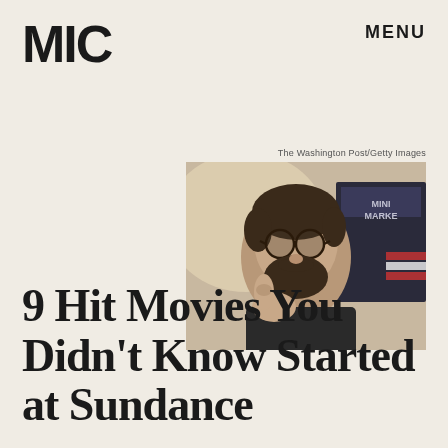MIC
MENU
The Washington Post/Getty Images
[Figure (photo): A bearded man with round glasses giving a thumbs up, standing in front of a sign reading MINI MARKET]
9 Hit Movies You Didn't Know Started at Sundance